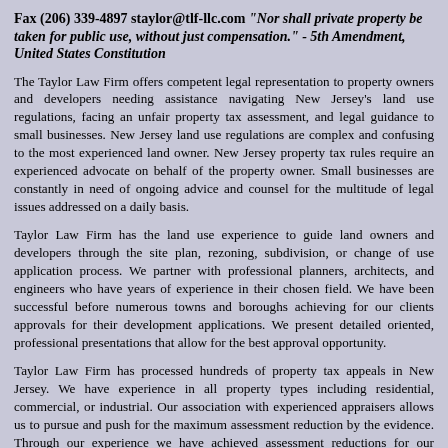Fax (206) 339-4897 staylor@tlf-llc.com "Nor shall private property be taken for public use, without just compensation." - 5th Amendment, United States Constitution
The Taylor Law Firm offers competent legal representation to property owners and developers needing assistance navigating New Jersey's land use regulations, facing an unfair property tax assessment, and legal guidance to small businesses. New Jersey land use regulations are complex and confusing to the most experienced land owner. New Jersey property tax rules require an experienced advocate on behalf of the property owner. Small businesses are constantly in need of ongoing advice and counsel for the multitude of legal issues addressed on a daily basis.
Taylor Law Firm has the land use experience to guide land owners and developers through the site plan, rezoning, subdivision, or change of use application process. We partner with professional planners, architects, and engineers who have years of experience in their chosen field. We have been successful before numerous towns and boroughs achieving for our clients approvals for their development applications. We present detailed oriented, professional presentations that allow for the best approval opportunity.
Taylor Law Firm has processed hundreds of property tax appeals in New Jersey. We have experience in all property types including residential, commercial, or industrial. Our association with experienced appraisers allows us to pursue and push for the maximum assessment reduction by the evidence. Through our experience we have achieved assessment reductions for our clients at the County Board of Taxation level or by filing appeals before the New Jersey Tax Court.